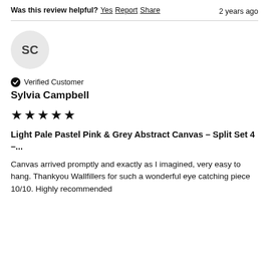Was this review helpful? Yes Report Share   2 years ago
SC
Verified Customer
Sylvia Campbell
★★★★★
Light Pale Pastel Pink & Grey Abstract Canvas – Split Set 4 –...
Canvas arrived promptly and exactly as I imagined, very easy to hang. Thankyou Wallfillers for such a wonderful eye catching piece 10/10. Highly recommended